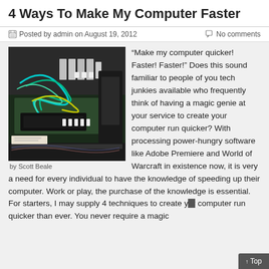4 Ways To Make My Computer Faster
Posted by admin on August 19, 2012   No comments
[Figure (photo): Interior of a computer with tangled green and yellow wires, circuit boards, and components visible. Photo by Scott Beale.]
by Scott Beale
“Make my computer quicker! Faster! Faster!” Does this sound familiar to people of you tech junkies available who frequently think of having a magic genie at your service to create your computer run quicker? With processing power-hungry software like Adobe Premiere and World of Warcraft in existence now, it is very a need for every individual to have the knowledge of speeding up their computer. Work or play, the purchase of the knowledge is essential. For starters, I may supply 4 techniques to create your computer run quicker than ever. You never require a magic